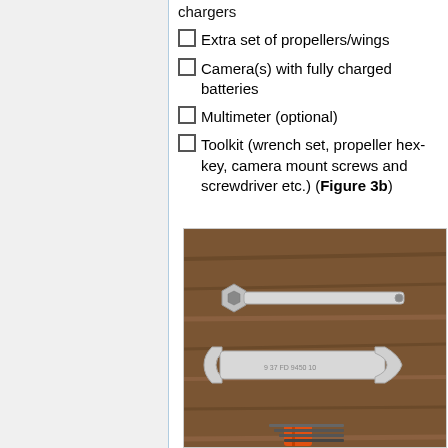chargers
Extra set of propellers/wings
Camera(s) with fully charged batteries
Multimeter (optional)
Toolkit (wrench set, propeller hex-key, camera mount screws and screwdriver etc.) (Figure 3b)
[Figure (photo): Photo of drone toolkit on a wooden surface: a flat propeller wrench (hex key style), an open-end wrench, and hex keys with orange handle visible at bottom.]